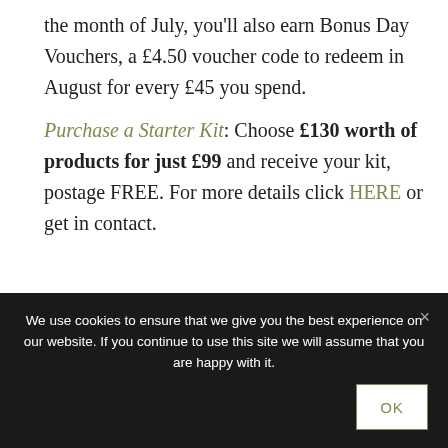the month of July, you'll also earn Bonus Day Vouchers, a £4.50 voucher code to redeem in August for every £45 you spend.
Purchase a Starter Kit: Choose £130 worth of products for just £99 and receive your kit, postage FREE. For more details click HERE or get in contact.
[Figure (illustration): Watercolor illustration of a white anemone flower with green leaves and brown branches]
We use cookies to ensure that we give you the best experience on our website. If you continue to use this site we will assume that you are happy with it.